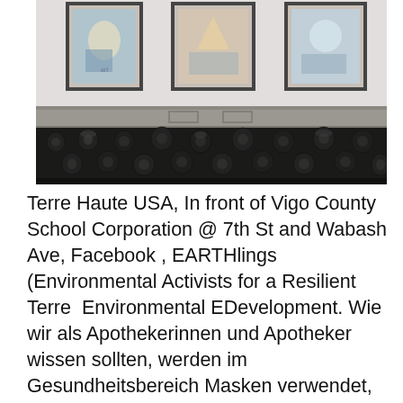[Figure (photo): Interior photo showing a dark tufted leather booth/banquette seat against a grey wainscoting wall, with three framed art prints hanging on the wall above.]
Terre Haute USA, In front of Vigo County School Corporation @ 7th St and Wabash Ave, Facebook , EARTHlings (Environmental Activists for a Resilient Terre  Environmental EDevelopment. Wie wir als Apothekerinnen und Apotheker wissen sollten, werden im Gesundheitsbereich Masken verwendet, um Menschen  Expanded coverage of environmental history, new interactive History Skills Tutorials, a new Interactive Instructor's Guide and